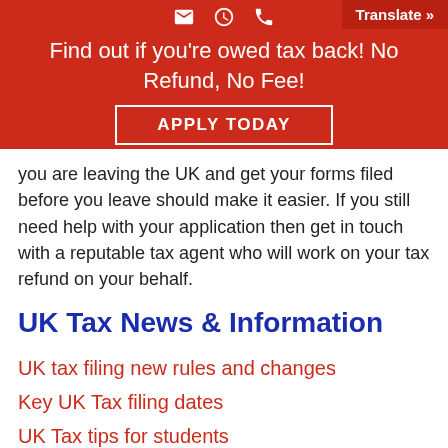Find out if you're owed tax back! No Refund, No Fee!
APPLY TODAY
you are leaving the UK and get your forms filed before you leave should make it easier. If you still need help with your application then get in touch with a reputable tax agent who will work on your tax refund on your behalf.
UK Tax News & Information
UK tax filing new rules and changes
Key UK Tax filing dates
UK Tax tips for students